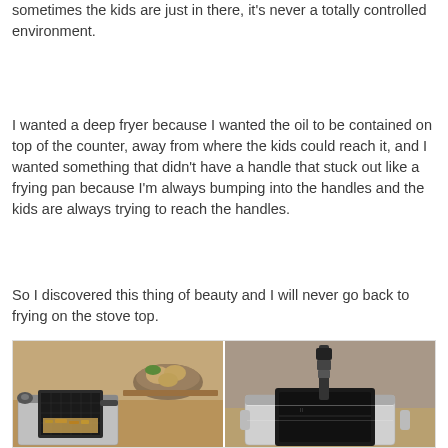sometimes the kids are just in there, it's never a totally controlled environment.
I wanted a deep fryer because I wanted the oil to be contained on top of the counter, away from where the kids could reach it, and I wanted something that didn't have a handle that stuck out like a frying pan because I'm always bumping into the handles and the kids are always trying to reach the handles.
So I discovered this thing of beauty and I will never go back to frying on the stove top.
[Figure (photo): Two product photos of a deep fryer side by side. Left image shows the deep fryer with basket lifted, with potatoes and vegetables visible in background. Right image shows the fryer from a different angle with a close-up of the interior basket/bowl mechanism.]